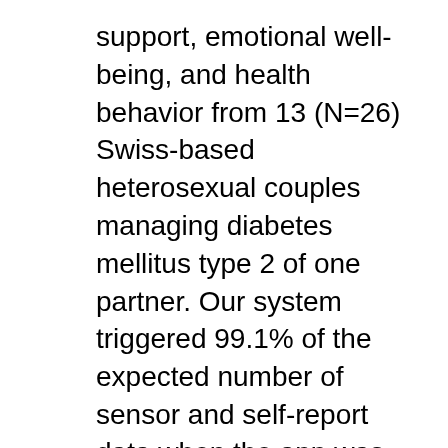support, emotional well-being, and health behavior from 13 (N=26) Swiss-based heterosexual couples managing diabetes mellitus type 2 of one partner. Our system triggered 99.1% of the expected number of sensor and self-report data when the app was running, and 77.6% of algorithm-triggered